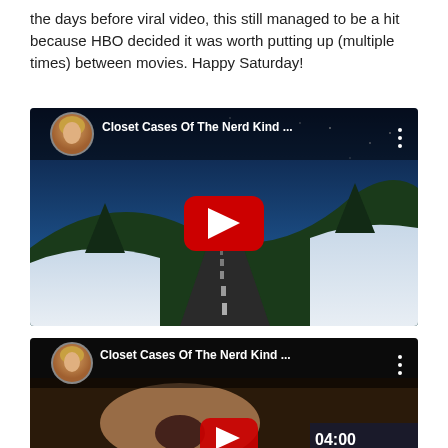the days before viral video, this still managed to be a hit because HBO decided it was worth putting up (multiple times) between movies. Happy Saturday!
[Figure (screenshot): YouTube video thumbnail for 'Closet Cases Of The Nerd Kind ...' showing a nighttime road with snow-covered trees and blue sky. Has a circular avatar of a woman in top-left corner, video title text, three-dot menu icon, and YouTube red play button in center.]
[Figure (screenshot): Second YouTube video thumbnail for 'Closet Cases Of The Nerd Kind ...' showing a woman with an open mouth expression and a partially visible YouTube play button at the bottom. Circular avatar of a woman in top-left corner and three-dot menu icon.]